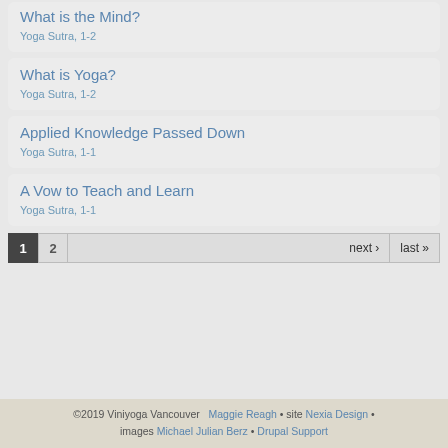What is the Mind? — Yoga Sutra, 1-2
What is Yoga? — Yoga Sutra, 1-2
Applied Knowledge Passed Down — Yoga Sutra, 1-1
A Vow to Teach and Learn — Yoga Sutra, 1-1
1  2  next › last »
©2019 Viniyoga Vancouver  Maggie Reagh • site Nexia Design • images Michael Julian Berz • Drupal Support